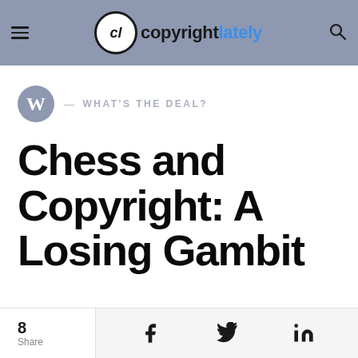copyright lately — navigation header with menu, logo, and search
WHAT'S THE DEAL?
Chess and Copyright: A Losing Gambit
by Aaron Moss · November 26, 2020
8 Share — social sharing bar with Facebook, Twitter, LinkedIn